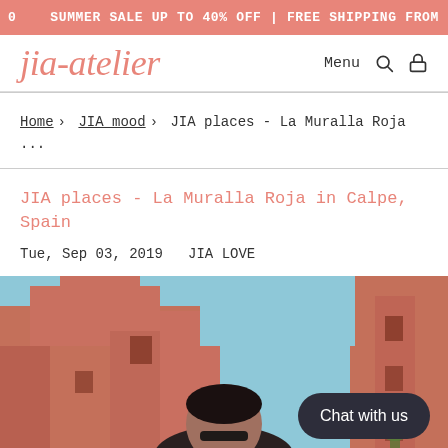0   SUMMER SALE UP TO 40% OFF | FREE SHIPPING FROM $2
jia-atelier
Menu
Home › JIA mood › JIA places - La Muralla Roja ...
JIA places - La Muralla Roja in Calpe, Spain
Tue, Sep 03, 2019   JIA LOVE
[Figure (photo): Person photographed from below against La Muralla Roja geometric pink/terracotta architecture in Calpe, Spain, with blue sky visible. A dark chat bubble overlay reads 'Chat with us'.]